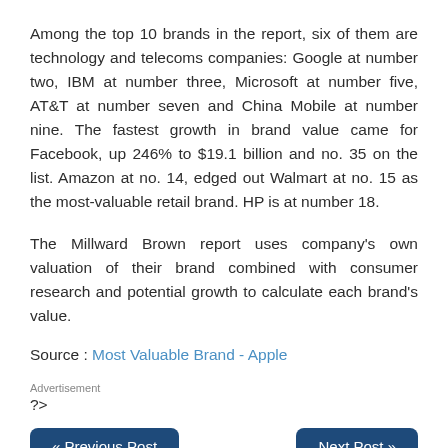Among the top 10 brands in the report, six of them are technology and telecoms companies: Google at number two, IBM at number three, Microsoft at number five, AT&T at number seven and China Mobile at number nine. The fastest growth in brand value came for Facebook, up 246% to $19.1 billion and no. 35 on the list. Amazon at no. 14, edged out Walmart at no. 15 as the most-valuable retail brand. HP is at number 18.
The Millward Brown report uses company's own valuation of their brand combined with consumer research and potential growth to calculate each brand's value.
Source : Most Valuable Brand - Apple
Advertisement
?>
« Previous Post
Next Post »